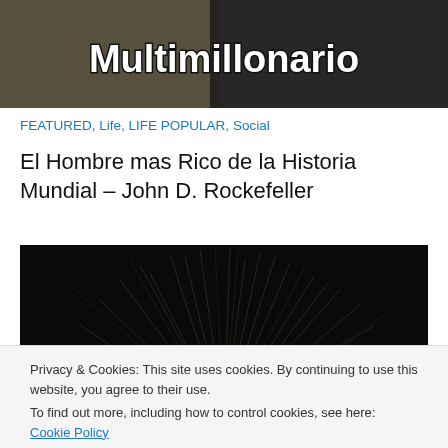[Figure (screenshot): Blog header image with 'Multimillonario' text in bold white with dark outline, overlaid on a dark background showing a person]
FEATURED, Life, LIFE POPULAR, Social
El Hombre mas Rico de la Historia Mundial – John D. Rockefeller
[Figure (photo): Dark photo showing light streaks or fireworks against a black background]
Privacy & Cookies: This site uses cookies. By continuing to use this website, you agree to their use.
To find out more, including how to control cookies, see here: Cookie Policy
Close and accept